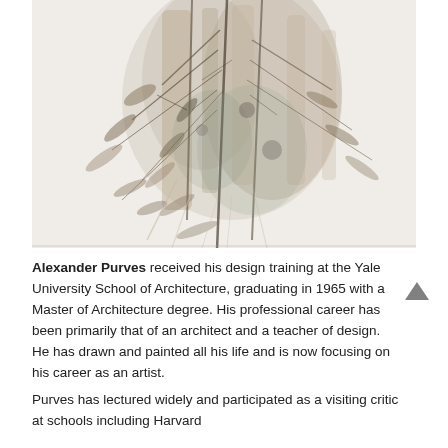[Figure (illustration): Watercolor painting depicting hanging foliage, bare branches with drooping leaves and twigs in muted brown, grey, and muted green tones on a light background.]
Alexander Purves received his design training at the Yale University School of Architecture, graduating in 1965 with a Master of Architecture degree. His professional career has been primarily that of an architect and a teacher of design. He has drawn and painted all his life and is now focusing on his career as an artist.
Purves has lectured widely and participated as a visiting critic at schools including Harvard